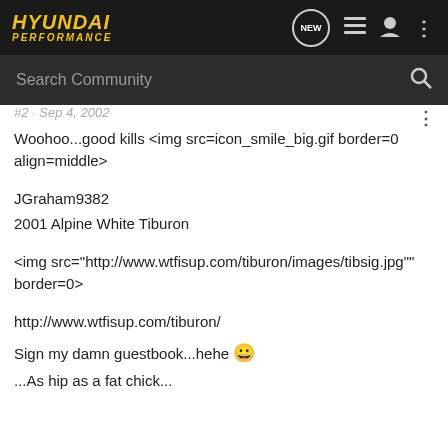[Figure (logo): Hyundai Performance logo in gold italic text on dark background]
Search Community
#2 · Sep 4, 2002
Woohoo...good kills <img src=icon_smile_big.gif border=0 align=middle>
JGraham9382
2001 Alpine White Tiburon
<img src="http://www.wtfisup.com/tiburon/images/tibsig.jpg"" border=0>
http://www.wtfisup.com/tiburon/
Sign my damn guestbook...hehe 😀
...As hip as a fat chick...